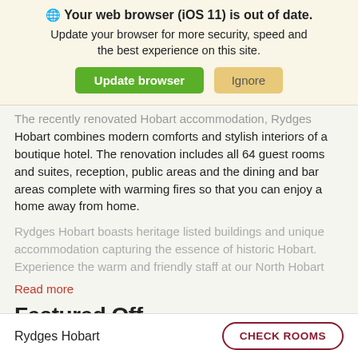🌐 Your web browser (iOS 11) is out of date. Update your browser for more security, speed and the best experience on this site. [Update browser] [Ignore]
The recently renovated Hobart accommodation, Rydges Hobart combines modern comforts and stylish interiors of a boutique hotel. The renovation includes all 64 guest rooms and suites, reception, public areas and the dining and bar areas complete with warming fires so that you can enjoy a home away from home.
Rydges Hobart boasts heritage listed buildings and unique accommodation capturing the essence of historic Hobart. Experience the warm and friendly staff at our North Hobart
Read more
Featured Off
Rydges Hobart
CHECK ROOMS